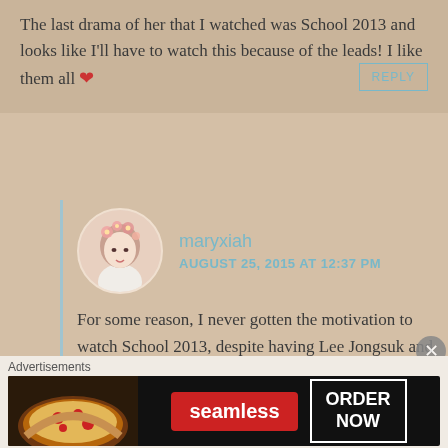The last drama of her that I watched was School 2013 and looks like I'll have to watch this because of the leads! I like them all ❤
REPLY
[Figure (photo): Circular avatar of user maryxiah — illustrated female figure with floral hair decoration]
maryxiah
AUGUST 25, 2015 AT 12:37 PM
For some reason, I never gotten the motivation to watch School 2013, despite having Lee Jongsuk and Kim Woobin in it. Perhaps the lack of romance was a big turn off, I'm a romance junkie. I last saw Park Seyoung in Sincerity Moves Heaven, I blame the writing
Advertisements
[Figure (screenshot): Seamless food delivery advertisement banner with pizza image, Seamless red logo, and ORDER NOW button]